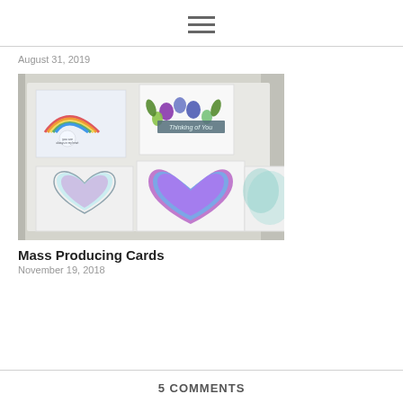≡ (hamburger menu icon)
August 31, 2019
[Figure (photo): A collection of handmade greeting cards displayed against a white wooden background. Top cards feature a rainbow with the text 'you are always in my heart' and a floral arrangement with 'Thinking of You'. Bottom cards show colorful watercolor heart designs in blue, purple, and teal.]
Mass Producing Cards
November 19, 2018
5 COMMENTS